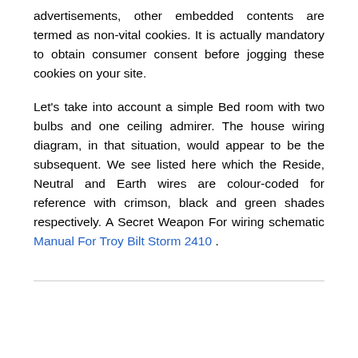advertisements, other embedded contents are termed as non-vital cookies. It is actually mandatory to obtain consumer consent before jogging these cookies on your site.
Let's take into account a simple Bed room with two bulbs and one ceiling admirer. The house wiring diagram, in that situation, would appear to be the subsequent. We see listed here which the Reside, Neutral and Earth wires are colour-coded for reference with crimson, black and green shades respectively. A Secret Weapon For wiring schematic Manual For Troy Bilt Storm 2410 .